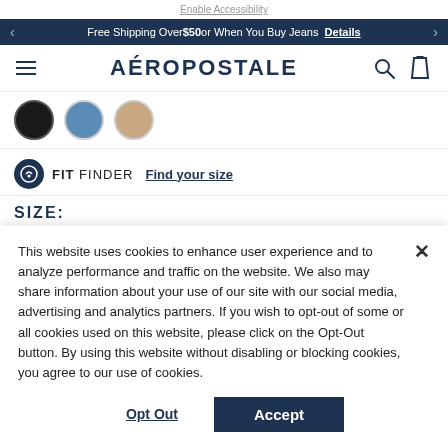Enable Accessibility
Free Shipping Over $50 or When You Buy Jeans   Details
AÉROPOSTALE
[Figure (screenshot): Color swatches: dark/black, blue, tan]
FIT FINDER  Find your size
SIZE:
This website uses cookies to enhance user experience and to analyze performance and traffic on the website. We also may share information about your use of our site with our social media, advertising and analytics partners. If you wish to opt-out of some or all cookies used on this website, please click on the Opt-Out button. By using this website without disabling or blocking cookies, you agree to our use of cookies.
Opt Out   Accept